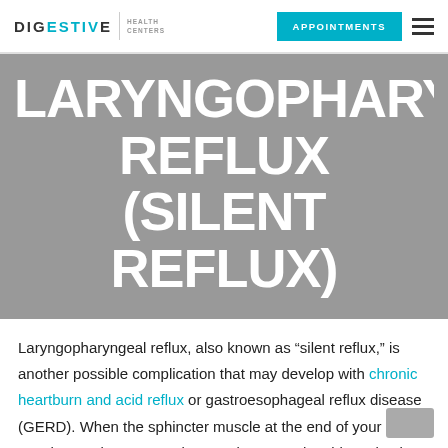DIGESTIVE HEALTH CENTERS | APPOINTMENTS
LARYNGOPHARYNGEAL REFLUX (SILENT REFLUX)
Laryngopharyngeal reflux, also known as “silent reflux,” is another possible complication that may develop with chronic heartburn and acid reflux or gastroesophageal reflux disease (GERD). When the sphincter muscle at the end of your esophagus does not work properly, stomach acid can back up into the throat, the larynx or even your nasal passage. The acid causes inflammation in these areas, which are not equipped to protect themselves from gastric acid.